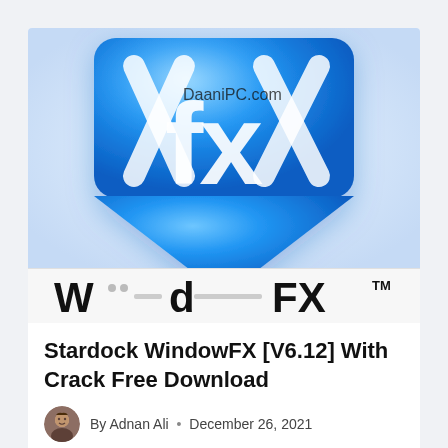[Figure (logo): Blue 3D diamond-shaped logo with white 'fx' letters and 'DaaniPC.com' watermark text on top]
[Figure (logo): WindowFX brand logo text in bold black letters with TM symbol]
Stardock WindowFX [V6.12] With Crack Free Download
By Adnan Ali • December 26, 2021